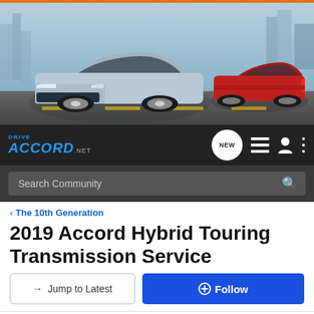[Figure (photo): Banner showing two Honda Accord cars driving on a highway. Silver car in foreground on left, red car on right background.]
DRIVE ACCORD.net — navigation bar with NEW, list, user, and menu icons, and Search Community search bar
< The 10th Generation
2019 Accord Hybrid Touring Transmission Service
→ Jump to Latest   + Follow
61 - 65 of 65 Posts   4 of 4